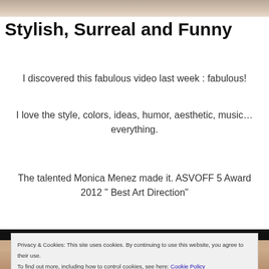[Figure (photo): Top portion of a photo, tan/brown tones, partial image at top of page]
Stylish, Surreal and Funny
I discovered this fabulous video last week : fabulous!
I love the style, colors, ideas, humor, aesthetic, music… everything.
The talented Monica Menez made it. ASVOFF 5 Award 2012 " Best Art Direction"
[Figure (photo): Mid-page photo with dark top bar and tan/brown tones below]
Privacy & Cookies: This site uses cookies. By continuing to use this website, you agree to their use. To find out more, including how to control cookies, see here: Cookie Policy
[Figure (photo): Bottom partial photo with warm tan/peach tones]